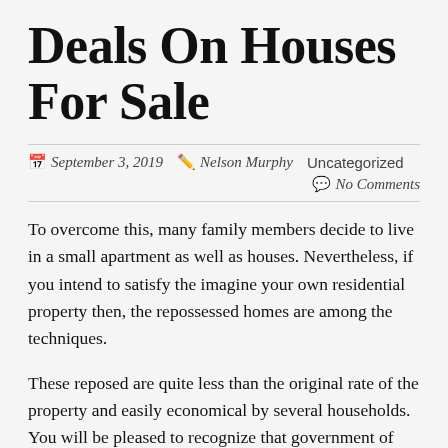Deals On Houses For Sale
September 3, 2019   Nelson Murphy   Uncategorized   No Comments
To overcome this, many family members decide to live in a small apartment as well as houses. Nevertheless, if you intend to satisfy the imagine your own residential property then, the repossessed homes are among the techniques.
These reposed are quite less than the original rate of the property and easily economical by several households. You will be pleased to recognize that government of various nations are regularly providing the repossessed residences available for sale as a result of the non repayments of the federal government loans. So if you are preparing to